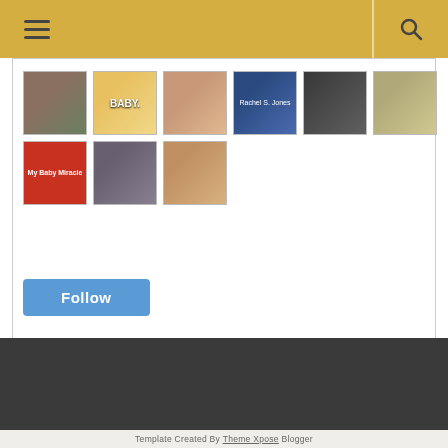Navigation header with hamburger menu and search icon
[Figure (photo): Grid of 9 follower/member avatar thumbnails in two rows]
[Figure (other): Blue Follow button]
Template Created By Theme Xpose Blogger